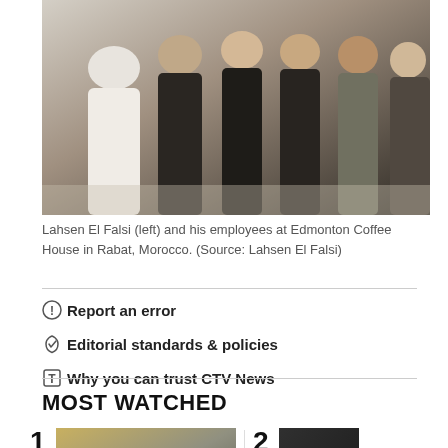[Figure (photo): Group photo of Lahsen El Falsi (left) and his employees at Edmonton Coffee House in Rabat, Morocco]
Lahsen El Falsi (left) and his employees at Edmonton Coffee House in Rabat, Morocco. (Source: Lahsen El Falsi)
Report an error
Editorial standards & policies
Why you can trust CTV News
MOST WATCHED
[Figure (photo): Thumbnail image 1 for most watched video]
[Figure (photo): Thumbnail image 2 for most watched video]